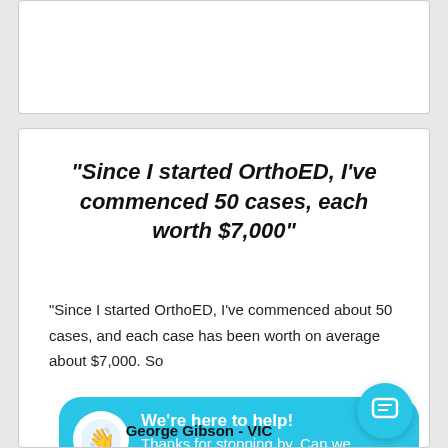“Since I started OrthoED, I’ve commenced 50 cases, each worth $7,000”
“Since I started OrthoED, I’ve commenced about 50 cases, and each case has been worth on average about $7,000. So
[Figure (infographic): Chat widget overlay with cyan background, waving hand icon, text 'We’re here to help!' and 'Thanks for stopping by. Can we answer any']
[Figure (infographic): Google Rating panel showing 5.0 stars based on 94 reviews with Google G logo]
George Gibson - VIC